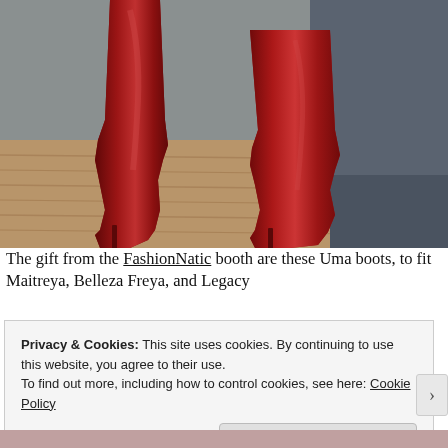[Figure (photo): 3D rendered image of red high-heeled thigh-high boots on a wooden floor with a grey counter/booth in the background]
The gift from the FashionNatic booth are these Uma boots, to fit Maitreya, Belleza Freya, and Legacy
Privacy & Cookies: This site uses cookies. By continuing to use this website, you agree to their use.
To find out more, including how to control cookies, see here: Cookie Policy